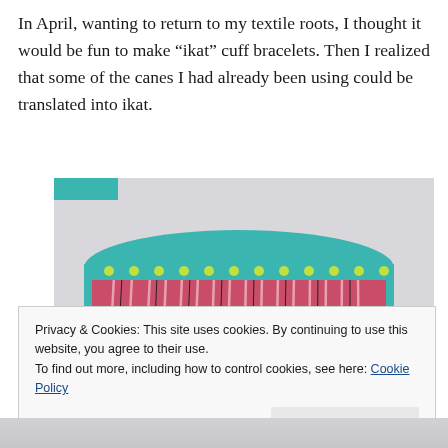In April, wanting to return to my textile roots, I thought it would be fun to make “ikat” cuff bracelets. Then I realized that some of the canes I had already been using could be translated into ikat.
[Figure (photo): Photograph of colorful polymer clay ikat cuff bracelets. The large bracelet in the foreground has a pink/red striped ikat pattern with teal borders and yellow-green dots. A smaller bracelet is visible in the background. Both rest on a light surface.]
Privacy & Cookies: This site uses cookies. By continuing to use this website, you agree to their use.
To find out more, including how to control cookies, see here: Cookie Policy